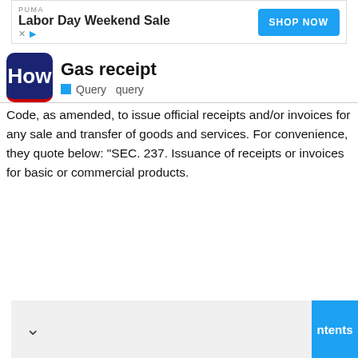[Figure (screenshot): PUMA Labor Day Weekend Sale advertisement banner with SHOP NOW button]
Gas receipt
Query  query
Code, as amended, to issue official receipts and/or invoices for any sale and transfer of goods and services. For convenience, they quote below: “SEC. 237. Issuance of receipts or invoices for basic or commercial products.
[Figure (screenshot): Bottom navigation bar with chevron down icon and ntents (contents) button in cyan/blue]